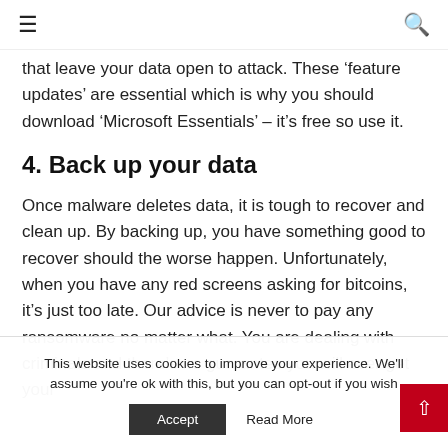☰  🔍
that leave your data open to attack. These 'feature updates' are essential which is why you should download 'Microsoft Essentials' – it's free so use it.
4. Back up your data
Once malware deletes data, it is tough to recover and clean up. By backing up, you have something good to recover should the worse happen. Unfortunately, when you have any red screens asking for bitcoins, it's just too late. Our advice is never to pay any ransomware no matter what. You are dealing with criminals and there's no guarantee you will ever get your
This website uses cookies to improve your experience. We'll assume you're ok with this, but you can opt-out if you wish